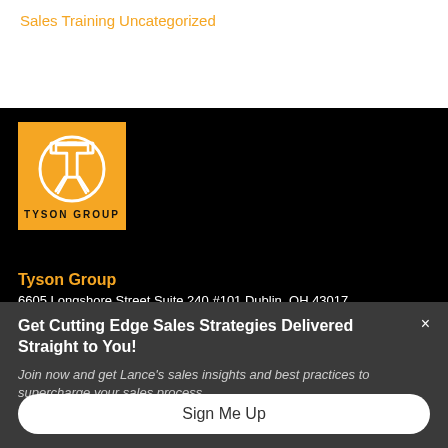Sales Training
Uncategorized
[Figure (logo): Tyson Group logo: orange square with white circle and T-shaped icon, with text TYSON GROUP below]
Tyson Group
6605 Longshore Street Suite 240 #101 Dublin, OH 43017
Get Cutting Edge Sales Strategies Delivered Straight to You!
Join now and get Lance's sales insights and best practices to supercharge your sales process.
Sign Me Up